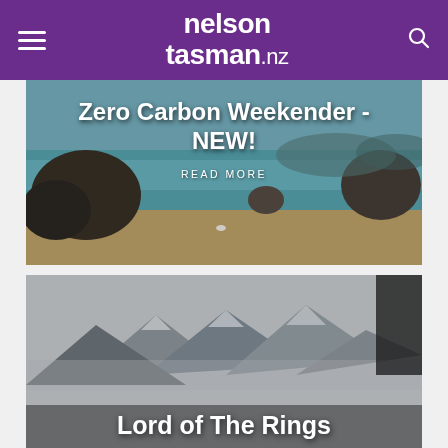nelson tasman.nz
[Figure (photo): Coastal beach scene with rocks, clear turquoise water, sandy beach with a seagull, and hills in the background. Text overlay: 'Zero Carbon Weekender - NEW!' and 'READ MORE']
Zero Carbon Weekender - NEW!
READ MORE
[Figure (photo): Misty mountain range landscape with snow-capped peaks. Text overlay: 'Lord of The Rings']
Lord of The Rings